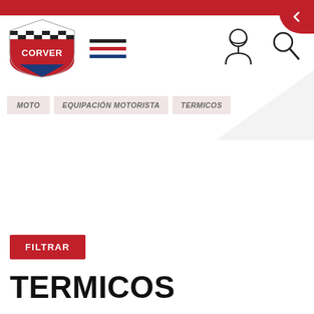[Figure (logo): Corver logo - shield shaped with checkered pattern top, red center with CORVER text, blue bottom]
[Figure (illustration): Hamburger menu icon with three horizontal lines - black, red, blue]
[Figure (illustration): User/person icon outline (motorcyclist with helmet) in black]
[Figure (illustration): Search/magnifying glass icon in black]
[Figure (illustration): Back arrow chevron icon in white on red background]
MOTO
EQUIPACIÓN MOTORISTA
TERMICOS
FILTRAR
TERMICOS